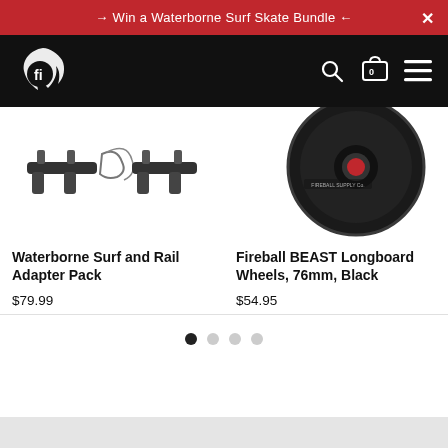→ Win a Waterborne Surf Skate Bundle ←
[Figure (logo): Fireball Supply Co. flame logo with 'fi' monogram in white on black background, navigation bar with search, cart (0), and menu icons]
[Figure (photo): Waterborne Surf and Rail Adapter Pack product photo showing metal truck adapters on white background]
[Figure (photo): Fireball BEAST Longboard Wheels 76mm Black product photo showing a large black wheel with red Fireball logo]
Waterborne Surf and Rail Adapter Pack
$79.99
Fireball BEAST Longboard Wheels, 76mm, Black
$54.95